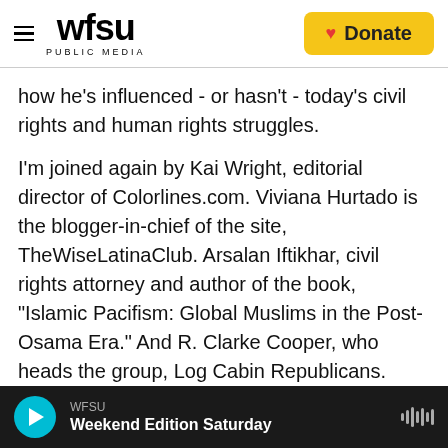WFSU PUBLIC MEDIA | Donate
how he's influenced - or hasn't - today's civil rights and human rights struggles.
I'm joined again by Kai Wright, editorial director of Colorlines.com. Viviana Hurtado is the blogger-in-chief of the site, TheWiseLatinaClub. Arsalan Iftikhar, civil rights attorney and author of the book, "Islamic Pacifism: Global Muslims in the Post-Osama Era." And R. Clarke Cooper, who heads the group, Log Cabin Republicans. That's an organization that works within the Republican Party to advocate for gays and lesbians.
WFSU Weekend Edition Saturday